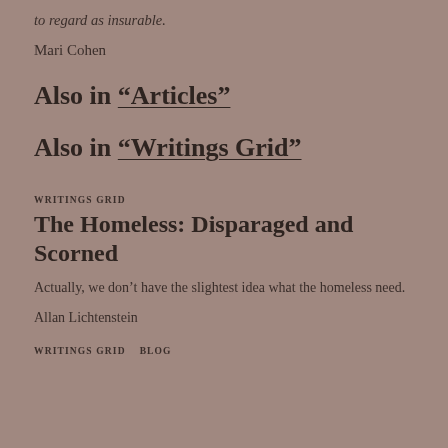to regard as insurable.
Mari Cohen
Also in “Articles”
Also in “Writings Grid”
WRITINGS GRID
The Homeless: Disparaged and Scorned
Actually, we don’t have the slightest idea what the homeless need.
Allan Lichtenstein
WRITINGS GRID   BLOG